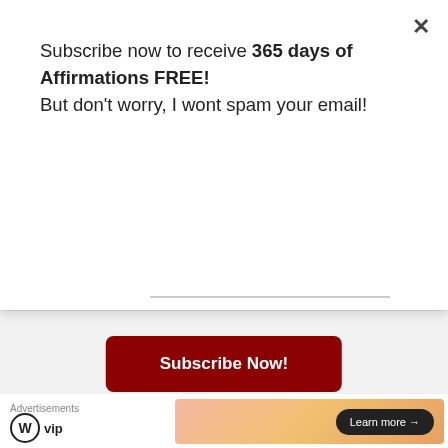Subscribe now to receive 365 days of Affirmations FREE! But don't worry, I wont spam your email!
Subscribe Now!
FEATURED POSTS
[Figure (photo): Image with text overlay reading 'ARE EXPECTATIONS ...YOUR LIFE?']
Advertisements
[Figure (logo): WordPress VIP logo (W in circle + 'vip' text)]
[Figure (other): Ad banner with gradient background and 'Learn more →' button]